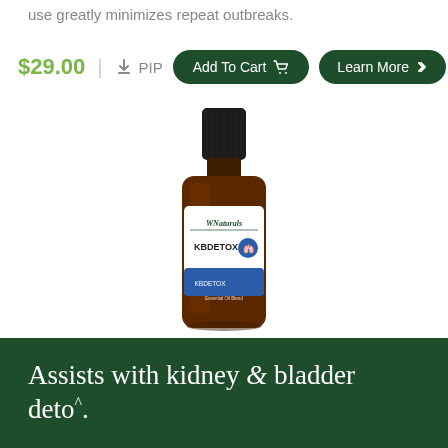use greatly minimizes repeat outbreaks.
$29.00 | PIP  Add To Cart  Learn More
[Figure (photo): Amber glass dropper bottle with black ribbed cap, labeled 'WNaturals KBDETOX', centered on white background]
Assists with kidney & bladder deto^.